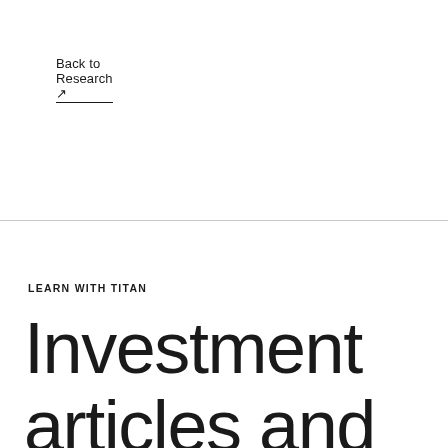Back to Research ↗
LEARN WITH TITAN
Investment articles and resources